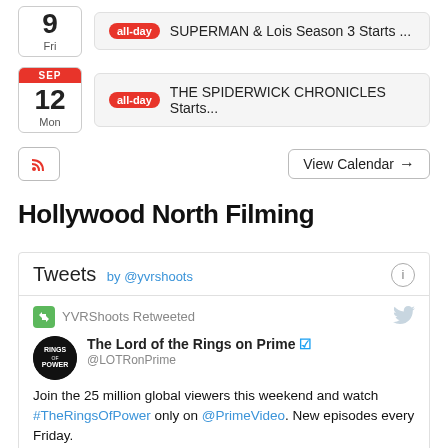9 Fri — all-day SUPERMAN & Lois Season 3 Starts ...
SEP 12 Mon — all-day THE SPIDERWICK CHRONICLES Starts...
View Calendar →
Hollywood North Filming
Tweets by @yvrshoots
YVRShoots Retweeted
The Lord of the Rings on Prime @LOTRonPrime
Join the 25 million global viewers this weekend and watch #TheRingsOfPower only on @PrimeVideo. New episodes every Friday.